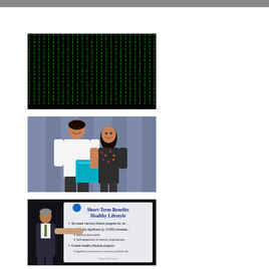[Figure (photo): Matrix-style dark background with green falling digital characters/code streams]
[Figure (photo): Two people posing together holding a large teal/blue folder or certificate, standing in front of a blue curtain backdrop]
[Figure (photo): Presenter at a podium gesturing toward a slide showing 'Short-Term Benefits Healthy Lifestyle' with bullet points about six-week memory fitness program and statistically significant increases in memory test scores and self-awareness of memory improvement]